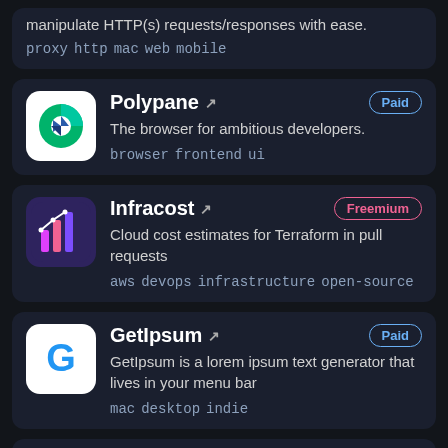manipulate HTTP(s) requests/responses with ease.
proxy  http  mac  web  mobile
Polypane
Paid
The browser for ambitious developers.
browser  frontend  ui
Infracost
Freemium
Cloud cost estimates for Terraform in pull requests
aws  devops  infrastructure  open-source
GetIpsum
Paid
GetIpsum is a lorem ipsum text generator that lives in your menu bar
mac  desktop  indie
DhiWise
Freemium